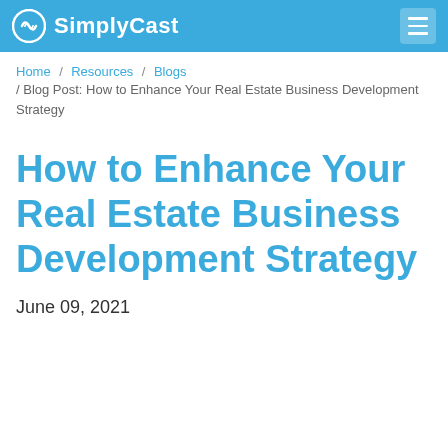SimplyCast
Home / Resources / Blogs / Blog Post: How to Enhance Your Real Estate Business Development Strategy
How to Enhance Your Real Estate Business Development Strategy
June 09, 2021